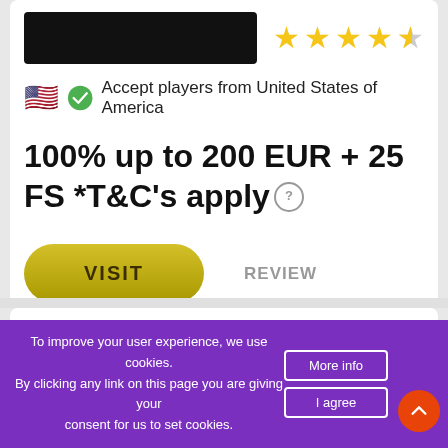[Figure (screenshot): Casino listing card with black logo placeholder, 4.5 star rating, US flag accept notice, bonus offer text, VISIT button and REVIEW link]
Accept players from United States of America
100% up to 200 EUR + 25 FS *T&C's apply
[Figure (logo): Volcano (Вулкан) casino logo on blue background]
8.5
To improve your user experience, we use cookies. By clicking any link on this page you are giving your consent for us to set cookies.